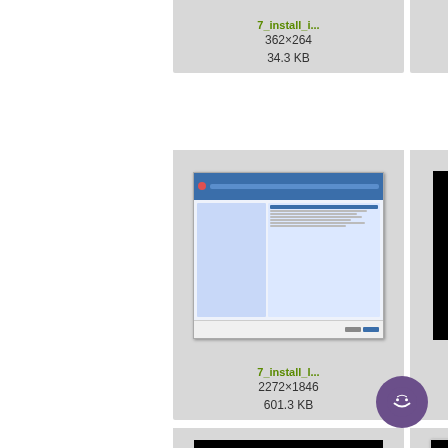[Figure (screenshot): Thumbnail: 7_install_i... 362×264, 34.3 KB]
7_install_i...
362×264
34.3 KB
[Figure (screenshot): Thumbnail: 7_install_i... 1276×856, 150.8 KB]
7_install_i...
1276×856
150.8 KB
[Figure (screenshot): Thumbnail: 7_install_... 1276×1... 167.2 KB]
7_install...
1276×1...
167.2 K
[Figure (screenshot): Thumbnail showing installer dialog: 7_install_l... 2272×1846, 601.3 KB]
7_install_l...
2272×1846
601.3 KB
[Figure (screenshot): Thumbnail showing black terminal screen: 7_install_... 1280×964, 47.9 KB]
7_install_...
1280×964
47.9 KB
[Figure (screenshot): Thumbnail showing black terminal screen: 7_install... 1280×9..., 60.7 K]
7_install...
1280×9...
60.7 K
[Figure (screenshot): Thumbnail showing black terminal screen (row 3, col 1)]
[Figure (screenshot): Thumbnail showing installer wizard with orange bar (row 3, col 2)]
[Figure (screenshot): Partially visible thumbnail (row 3, col 3)]